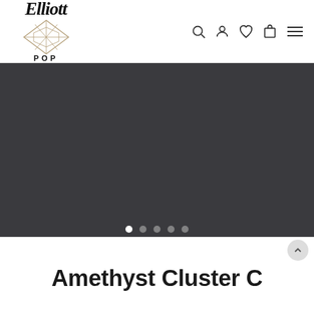[Figure (logo): Elliott Pop brand logo with cursive 'Elliott' text above a geometric diamond shape and 'POP' text below]
[Figure (screenshot): Dark grey image slider/carousel placeholder area (product images not visible), with five pagination dots at the bottom — first dot is white/active, remaining four are grey/inactive]
Amethyst Cluster C